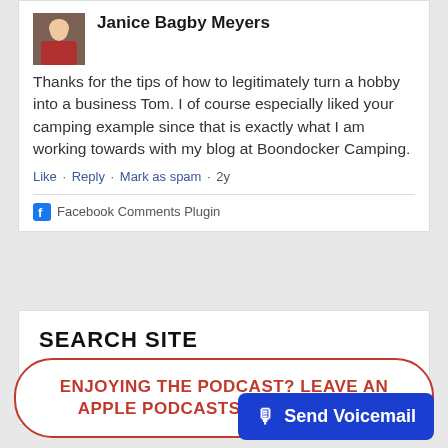[Figure (photo): Small profile photo of Janice Bagby Meyers, a woman in a red top outdoors]
Janice Bagby Meyers
Thanks for the tips of how to legitimately turn a hobby into a business Tom. I of course especially liked your camping example since that is exactly what I am working towards with my blog at Boondocker Camping.
Like · Reply · Mark as spam · 2y
Facebook Comments Plugin
SEARCH SITE
ENJOYING THE PODCAST? LEAVE AN APPLE PODCASTS REVIEW HERE
Send Voicemail